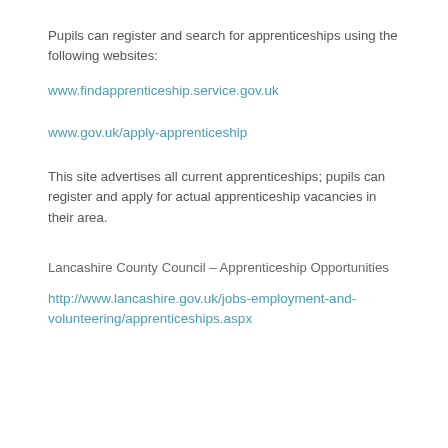Pupils can register and search for apprenticeships using the following websites:
www.findapprenticeship.service.gov.uk
www.gov.uk/apply-apprenticeship
This site advertises all current apprenticeships; pupils can register and apply for actual apprenticeship vacancies in their area.
Lancashire County Council – Apprenticeship Opportunities
http://www.lancashire.gov.uk/jobs-employment-and-volunteering/apprenticeships.aspx